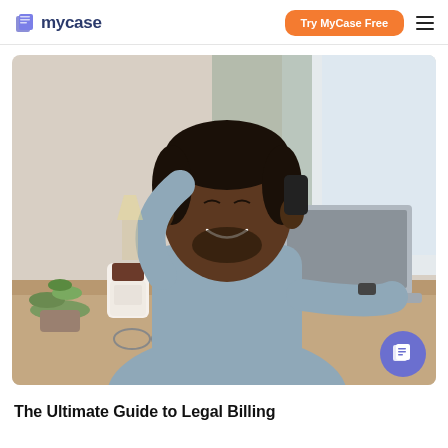[Figure (logo): MyCase logo with blue book icon and dark blue text 'mycase']
Try MyCase Free
[Figure (photo): A smiling Black man in a grey shirt talking on his phone while working on a laptop at a desk with a notebook, coffee cup, plant, and glasses]
The Ultimate Guide to Legal Billing